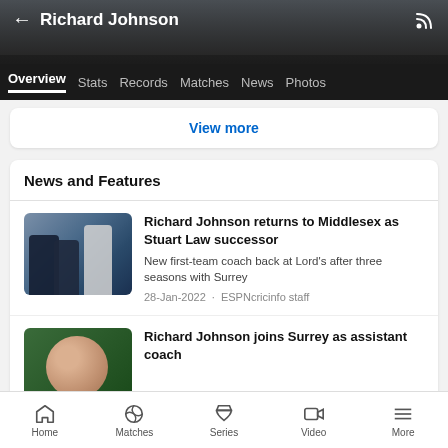Richard Johnson
Overview  Stats  Records  Matches  News  Photos
View more
News and Features
[Figure (photo): Cricket players in training, one bald player in dark top, another in white top with Adidas logo]
Richard Johnson returns to Middlesex as Stuart Law successor
New first-team coach back at Lord's after three seasons with Surrey
28-Jan-2022 · ESPNcricinfo staff
[Figure (photo): Close-up headshot of bald man against dark green background]
Richard Johnson joins Surrey as assistant coach
Home  Matches  Series  Video  More